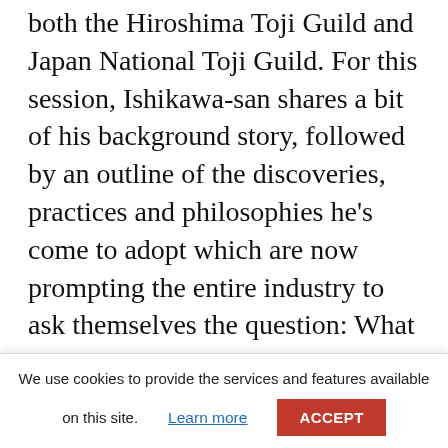both the Hiroshima Toji Guild and Japan National Toji Guild. For this session, Ishikawa-san shares a bit of his background story, followed by an outline of the discoveries, practices and philosophies he's come to adopt which are now prompting the entire industry to ask themselves the question: What is sake?
Speakers: Tatsuya Ishikawa (Toji at Tsukinoi Shuzo; Vice-president of Japan National Toji Guild; Head of Hiroshima…
We use cookies to provide the services and features available on this site.
Learn more
ACCEPT